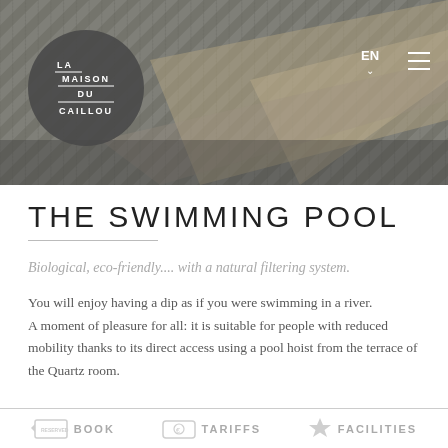[Figure (photo): Header image showing a swimming pool with diagonal striped pattern, overlaid with a dark grey semi-transparent logo circle and navigation elements. Logo reads LA MAISON DU CAILLOU. Navigation shows EN language selector and hamburger menu.]
THE SWIMMING POOL
Biological, eco-friendly.... with a natural filtering system.
You will enjoy having a dip as if you were swimming in a river. A moment of pleasure for all: it is suitable for people with reduced mobility thanks to its direct access using a pool hoist from the terrace of the Quartz room.
BOOK   TARIFFS   FACILITIES